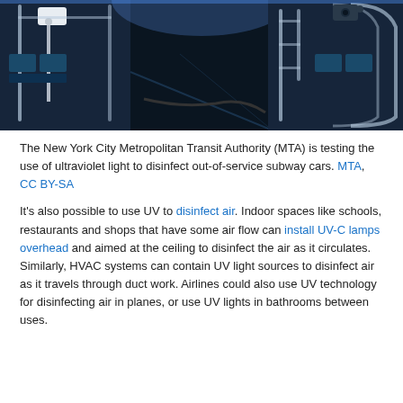[Figure (photo): Interior of a New York City subway car bathed in ultraviolet blue light, showing seats and poles being disinfected. UV light equipment is mounted on a pole inside the empty train car.]
The New York City Metropolitan Transit Authority (MTA) is testing the use of ultraviolet light to disinfect out-of-service subway cars. MTA, CC BY-SA
It’s also possible to use UV to disinfect air. Indoor spaces like schools, restaurants and shops that have some air flow can install UV-C lamps overhead and aimed at the ceiling to disinfect the air as it circulates. Similarly, HVAC systems can contain UV light sources to disinfect air as it travels through duct work. Airlines could also use UV technology for disinfecting air in planes, or use UV lights in bathrooms between uses.